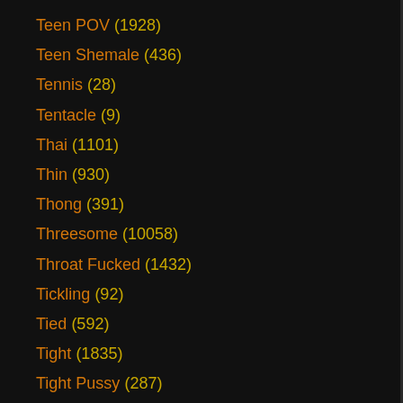Teen POV (1928)
Teen Shemale (436)
Tennis (28)
Tentacle (9)
Thai (1101)
Thin (930)
Thong (391)
Threesome (10058)
Throat Fucked (1432)
Tickling (92)
Tied (592)
Tight (1835)
Tight Pussy (287)
Tights (152)
Tiny (733)